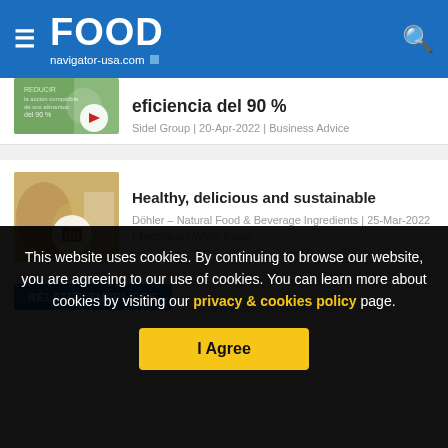FOOD navigator-usa.com
eficiencia del 90 %
Sidel Group | 20-Apr-2022 | Business Advice
Healthy, delicious and sustainable
Döhler – Natural Food & Beverage Ingredients | 25-Mar-2022 | Technical / White Paper
RELATED SUPPLIERS
This website uses cookies. By continuing to browse our website, you are agreeing to our use of cookies. You can learn more about cookies by visiting our privacy & cookies policy page.
I Agree